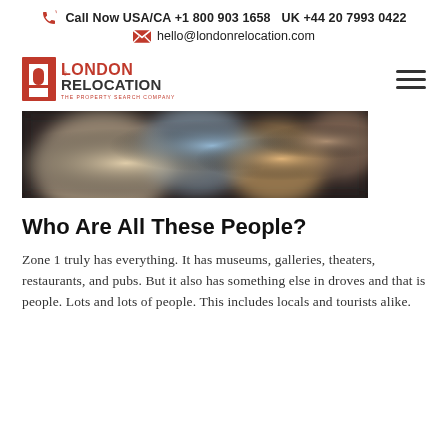Call Now USA/CA +1 800 903 1658   UK +44 20 7993 0422
hello@londonrelocation.com
[Figure (logo): London Relocation - The Property Search Company logo with red door icon]
[Figure (photo): Blurred bokeh photo of people in a crowd, close-up]
Who Are All These People?
Zone 1 truly has everything. It has museums, galleries, theaters, restaurants, and pubs. But it also has something else in droves and that is people. Lots and lots of people. This includes locals and tourists alike.